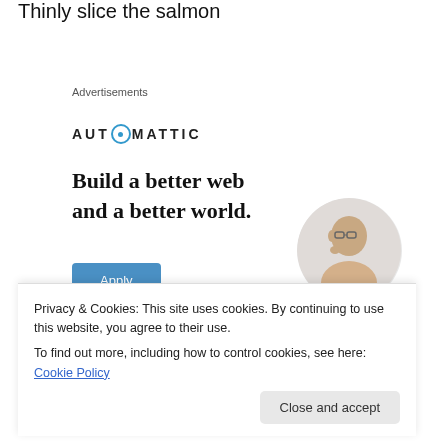Thinly slice the salmon
Advertisements
[Figure (illustration): Automattic advertisement: Logo at top reading 'AUTOMATTIC' with a circle-O icon, headline text 'Build a better web and a better world.', a blue 'Apply' button, and a circular photo of a person touching their chin thoughtfully.]
Privacy & Cookies: This site uses cookies. By continuing to use this website, you agree to their use.
To find out more, including how to control cookies, see here: Cookie Policy
Close and accept